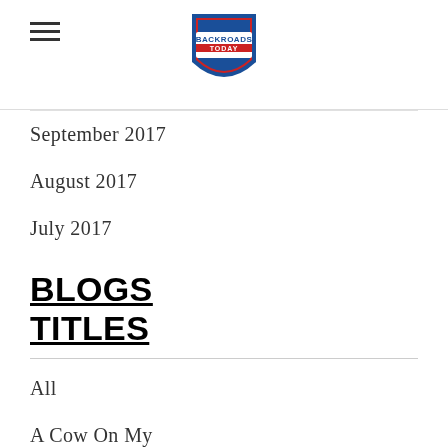Backroads Today
September 2017
August 2017
July 2017
BLOGS TITLES
All
A Cow On My Calendar
Adopting A Front Porch Attitude
An Insurgence